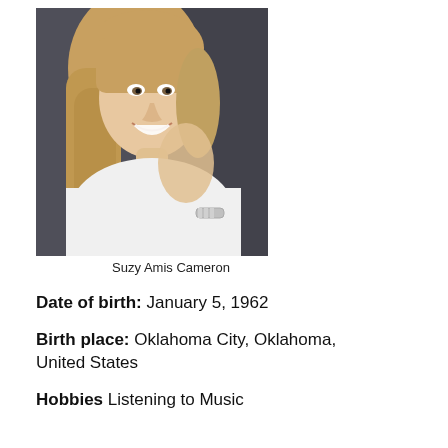[Figure (photo): Portrait photo of Suzy Amis Cameron, a blonde woman smiling, wearing a white top and silver bracelet, resting her chin on her hand against a dark background]
Suzy Amis Cameron
Date of birth: January 5, 1962
Birth place: Oklahoma City, Oklahoma, United States
Hobbies Listening to Music